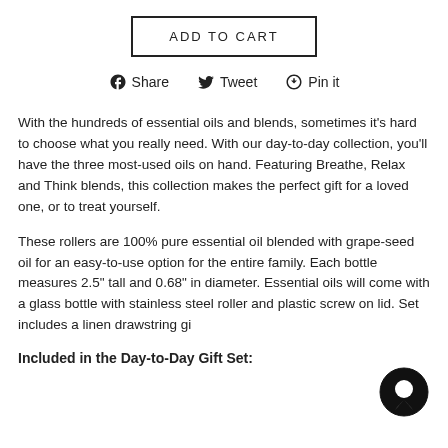ADD TO CART
Share  Tweet  Pin it
With the hundreds of essential oils and blends, sometimes it's hard to choose what you really need. With our day-to-day collection, you'll have the three most-used oils on hand. Featuring Breathe, Relax and Think blends, this collection makes the perfect gift for a loved one, or to treat yourself.
These rollers are 100% pure essential oil blended with grape-seed oil for an easy-to-use option for the entire family. Each bottle measures 2.5" tall and 0.68" in diameter. Essential oils will come with a glass bottle with stainless steel roller and plastic screw on lid. Set includes a linen drawstring gi...
Included in the Day-to-Day Gift Set: